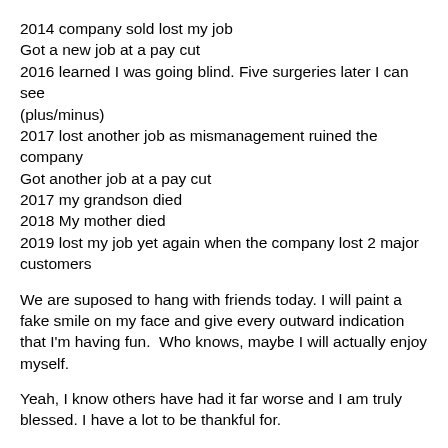2014 company sold lost my job
Got a new job at a pay cut
2016 learned I was going blind. Five surgeries later I can see (plus/minus)
2017 lost another job as mismanagement ruined the company
Got another job at a pay cut
2017 my grandson died
2018 My mother died
2019 lost my job yet again when the company lost 2 major customers
We are suposed to hang with friends today. I will paint a fake smile on my face and give every outward indication that I'm having fun.  Who knows, maybe I will actually enjoy myself.
Yeah, I know others have had it far worse and I am truly blessed. I have a lot to be thankful for.
Don't worry. By Monday I will shed the poor me attitude and face the new week with determination. It will be sweaty